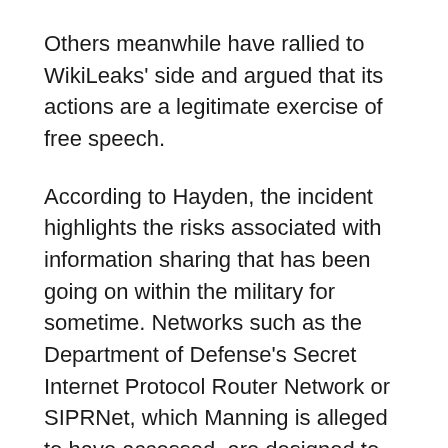Others meanwhile have rallied to WikiLeaks' side and argued that its actions are a legitimate exercise of free speech.
According to Hayden, the incident highlights the risks associated with information sharing that has been going on within the military for sometime. Networks such as the Department of Defense's Secret Internet Protocol Router Network or SIPRNet, which Manning is alleged to have accessed, are designed to pass along important information as quickly and efficiently as possible.
“You can’t be hierarchical. Information has to be accessible at the node and be available and retrievable in a way as to allow our nodes to be as agile as our enemy,” Hayden said. “We are an information-based military.